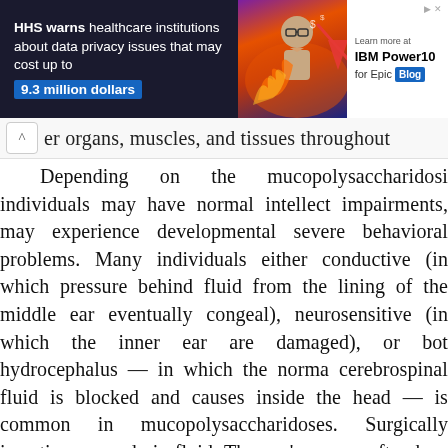[Figure (photo): HHS advertisement banner warning healthcare institutions about data privacy issues costing up to 9.3 million dollars, with IBM Power10 for Epic Blog promotion. Shows a man with glasses and financial/fire imagery.]
er organs, muscles, and tissues throughout
Depending on the mucopolysaccharidosi individuals may have normal intellect impairments, may experience developmental severe behavioral problems. Many individuals either conductive (in which pressure behind fluid from the lining of the middle ear eventually congeal), neurosensitive (in which the inner ear are damaged), or bot hydrocephalus — in which the norma cerebrospinal fluid is blocked and causes inside the head — is common in mucopolysaccharidoses. Surgically inserting a can drain fluid. The eye's cornea often be